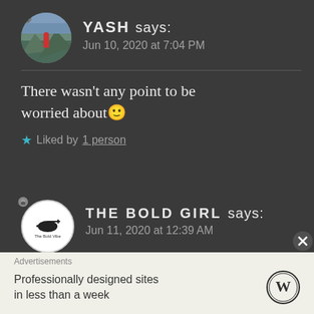[Figure (photo): User avatar of YASH - circular photo showing a person in red jacket on a mountain landscape]
YASH says:
Jun 10, 2020 at 7:04 PM
There wasn't any point to be worried about 🙂
★ Liked by 1 person
[Figure (logo): The Bold Vibe logo - circular white avatar with helicopter silhouette and text 'The Bold Vibe']
THE BOLD GIRL says:
Jun 11, 2020 at 12:39 AM
But I am. Even if you don't say, I get the vibes, you forgot?
Advertisements
Professionally designed sites
in less than a week